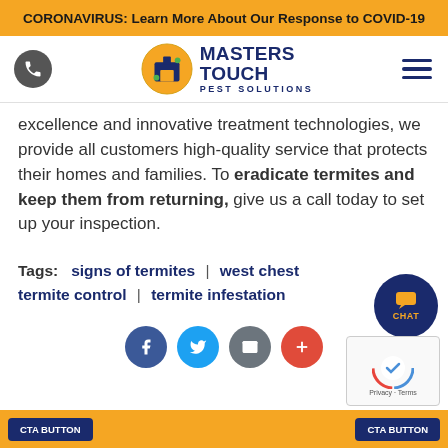CORONAVIRUS: Learn More About Our Response to COVID-19
[Figure (logo): Masters Touch Pest Solutions logo with phone icon and hamburger menu in navigation bar]
excellence and innovative treatment technologies, we provide all customers high-quality service that protects their homes and families. To eradicate termites and keep them from returning, give us a call today to set up your inspection.
Tags:   signs of termites  |  west chester termite control  |  termite infestation
[Figure (infographic): Social share buttons: Facebook (blue), Twitter (cyan), email (gray), plus (red-orange)]